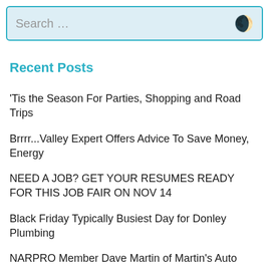Search ...
Recent Posts
'Tis the Season For Parties, Shopping and Road Trips
Brrrr...Valley Expert Offers Advice To Save Money, Energy
NEED A JOB? GET YOUR RESUMES READY FOR THIS JOB FAIR ON NOV 14
Black Friday Typically Busiest Day for Donley Plumbing
NARPRO Member Dave Martin of Martin's Auto Repair Encourages Others Not to Judge a Book by Its Cover